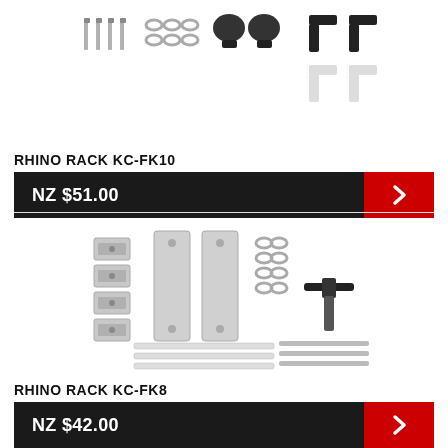[Figure (photo): Rhino Rack KC-FK10 hardware kit components including screws, washers, black plastic knobs and L-shaped brackets]
RHINO RACK KC-FK10
NZ $51.00
[Figure (photo): Rhino Rack KC-FK8 hardware kit components including metal plates, small brackets, washers, screws, Allen key tool and white plastic anchors]
RHINO RACK KC-FK8
NZ $42.00